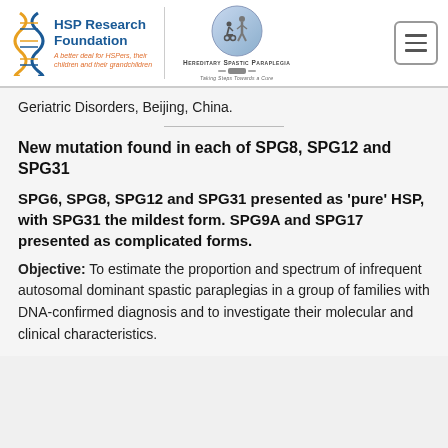[Figure (logo): HSP Research Foundation logo with DNA double helix icon and text 'A better deal for HSPers, their children and their grandchildren', alongside Hereditary Spastic Paraplegia logo with circular emblem showing people silhouettes and text 'Taking Steps Towards a Cure', and a hamburger menu button]
Geriatric Disorders, Beijing, China.
New mutation found in each of SPG8, SPG12 and SPG31
SPG6, SPG8, SPG12 and SPG31 presented as 'pure' HSP, with SPG31 the mildest form. SPG9A and SPG17 presented as complicated forms.
Objective: To estimate the proportion and spectrum of infrequent autosomal dominant spastic paraplegias in a group of families with DNA-confirmed diagnosis and to investigate their molecular and clinical characteristics.